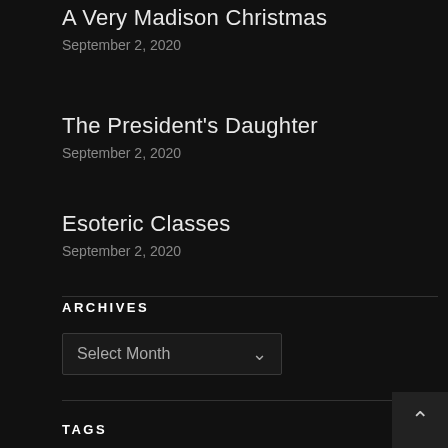A Very Madison Christmas
September 2, 2020
The President's Daughter
September 2, 2020
Esoteric Classes
September 2, 2020
ARCHIVES
Select Month
TAGS